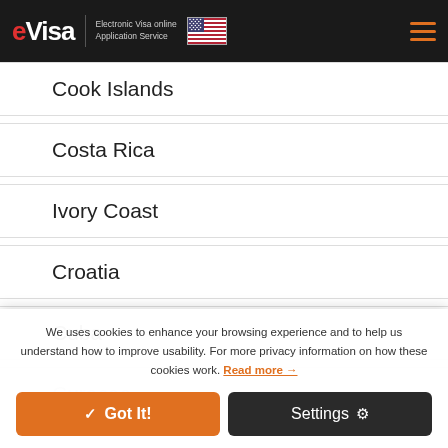eVisa Electronic Visa online Application Service
Cook Islands
Costa Rica
Ivory Coast
Croatia
Cuba
Curaçao (partial)
We uses cookies to enhance your browsing experience and to help us understand how to improve usability. For more privacy information on how these cookies work. Read more →
✓ Got It!
Settings ⚙